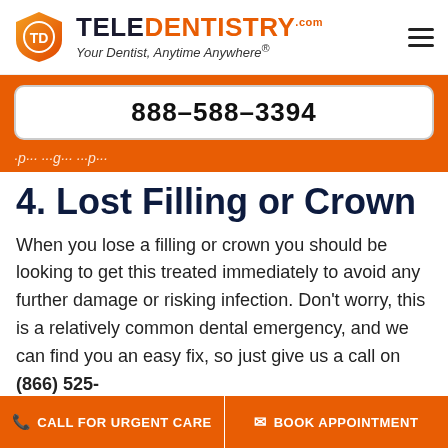[Figure (logo): TeleDentistry logo with orange shield icon and text 'TELEDENTISTRY.com - Your Dentist, Anytime Anywhere®']
888-588-3394
4. Lost Filling or Crown
When you lose a filling or crown you should be looking to get this treated immediately to avoid any further damage or risking infection. Don't worry, this is a relatively common dental emergency, and we can find you an easy fix, so just give us a call on (866) 525-
CALL FOR URGENT CARE
BOOK APPOINTMENT